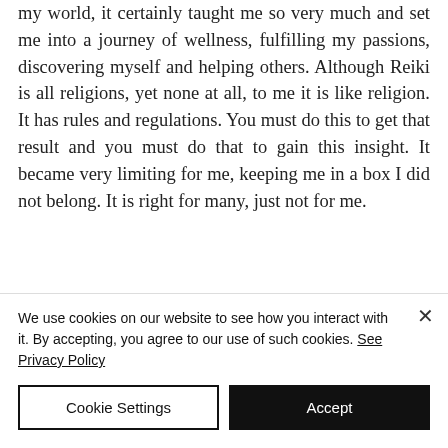my world, it certainly taught me so very much and set me into a journey of wellness, fulfilling my passions, discovering myself and helping others. Although Reiki is all religions, yet none at all, to me it is like religion. It has rules and regulations. You must do this to get that result and you must do that to gain this insight. It became very limiting for me, keeping me in a box I did not belong. It is right for many, just not for me.
We use cookies on our website to see how you interact with it. By accepting, you agree to our use of such cookies. See Privacy Policy